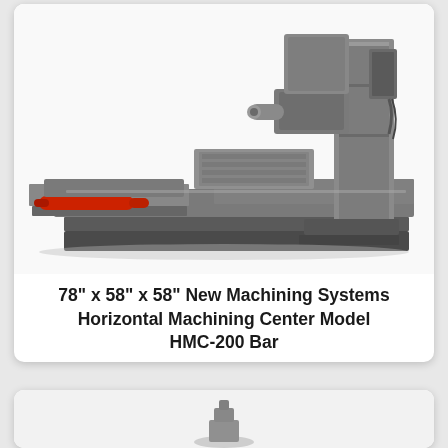[Figure (photo): Photograph of a 78" x 58" x 58" New Machining Systems Horizontal Machining Center Model HMC-200 Bar. The machine is a large grey horizontal machining center with a vertical column, horizontal spindle, and a wide flat table/base. A red hydraulic cylinder is visible on the left side.]
78" x 58" x 58" New Machining Systems Horizontal Machining Center Model HMC-200 Bar
[Figure (photo): Partial view of another machine, only the bottom portion visible in the lower card, showing a small portion of what appears to be another machining or industrial equipment.]